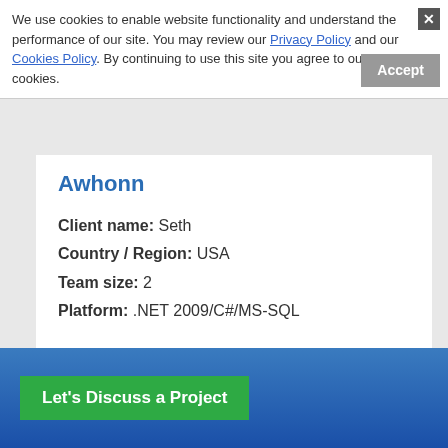We use cookies to enable website functionality and understand the performance of our site. You may review our Privacy Policy and our Cookies Policy. By continuing to use this site you agree to our use of cookies.
Awhonn
Client name: Seth
Country / Region: USA
Team size: 2
Platform: .NET 2009/C#/MS-SQL
OBJECTIVE:
Association of Women's Health, Obstetric and Neonatal Nurses is accredited as a provider of continuing nursing education by the American Nurses Credentialing Center's Commission on Accreditation. The aim is to strengthen the nursing profession through the delivery of superior advocacy, research, and other professional and clinical resources to nurses and other